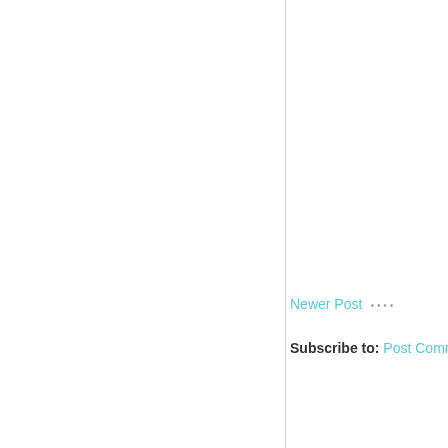Newer Post • • • •
Subscribe to: Post Comments
[Figure (other): Advertisement banner: Get Next Day Installation and Special Financing on Select Flooring Options. Get Started. with BOOK NOW button]